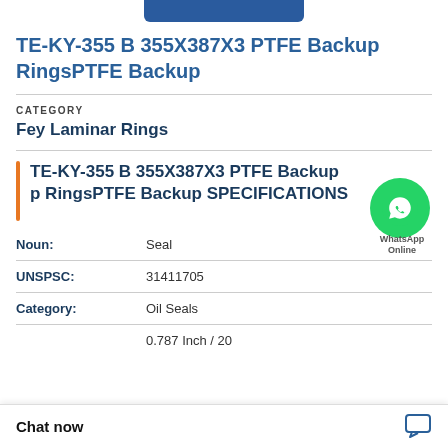TE-KY-355 B 355X387X3 PTFE Backup RingsPTFE Backup
CATEGORY
Fey Laminar Rings
TE-KY-355 B 355X387X3 PTFE Backup RingsPTFE Backup SPECIFICATIONS
| Field | Value |
| --- | --- |
| Noun: | Seal |
| UNSPSC: | 31411705 |
| Category: | Oil Seals |
|  | 0.787 Inch / 20 |